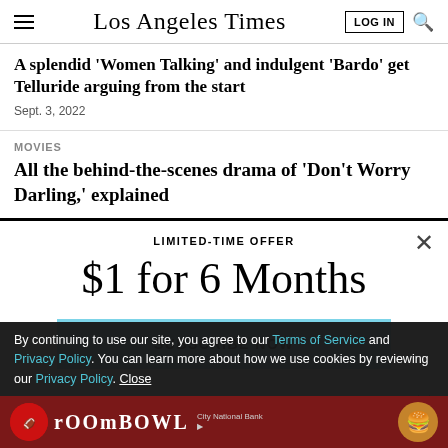Los Angeles Times
A splendid 'Women Talking' and indulgent 'Bardo' get Telluride arguing from the start
Sept. 3, 2022
MOVIES
All the behind-the-scenes drama of 'Don't Worry Darling,' explained
LIMITED-TIME OFFER
$1 for 6 Months
SUBSCRIBE NOW
By continuing to use our site, you agree to our Terms of Service and Privacy Policy. You can learn more about how we use cookies by reviewing our Privacy Policy. Close